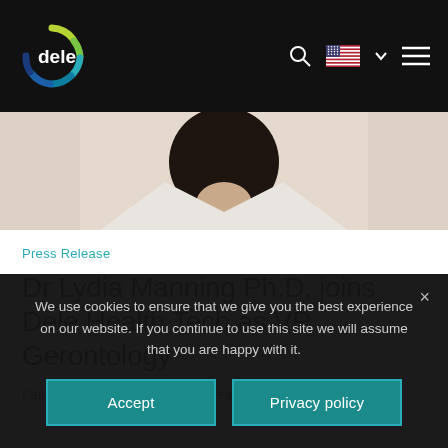[Figure (logo): Dele Health Tech logo — circular segmented color ring (green, teal, blue segments) with white text 'dele' and navigation icons (search, US flag, chevron, hamburger menu) on black header bar]
[Figure (photo): Cropped photo of a woman in a white lab coat with dark top, showing her torso and lower face/neck area]
Press Release
Dr Lydia Manning Ph.D, joins Dele Health Tech as VP Gerontology
Fall technology specialist Dele Health Tech today
We use cookies to ensure that we give you the best experience on our website. If you continue to use this site we will assume that you are happy with it.